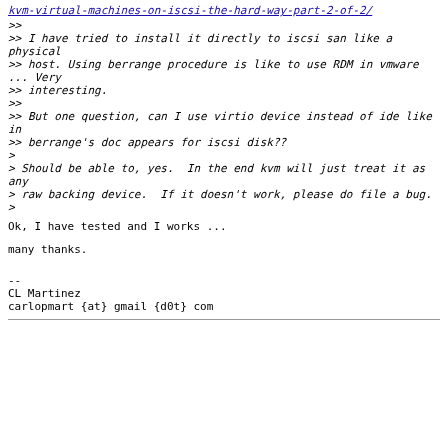kvm-virtual-machines-on-iscsi-the-hard-way-part-2-of-2/
>>
>> I have tried to install it directly to iscsi san like a physical
>> host. Using berrange procedure is like to use RDM in vmware ... Very
>> interesting.
>>
>> But one question, can I use virtio device instead of ide like in
>> berrange's doc appears for iscsi disk??
>
> Should be able to, yes.  In the end kvm will just treat it as any
> raw backing device.  If it doesn't work, please do file a bug.
>
Ok, I have tested and I works ...
many thanks.
--
CL Martinez
carlopmart {at} gmail {d0t} com